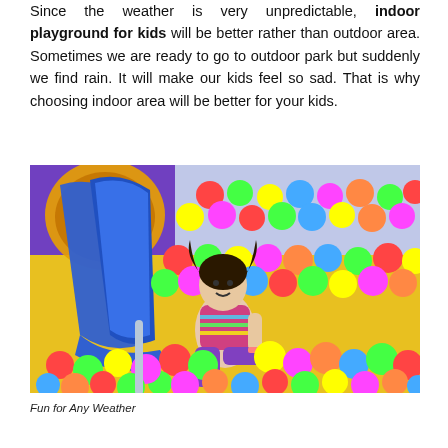Since the weather is very unpredictable, indoor playground for kids will be better rather than outdoor area. Sometimes we are ready to go to outdoor park but suddenly we find rain. It will make our kids feel so sad. That is why choosing indoor area will be better for your kids.
[Figure (photo): A young girl with pigtails wearing a striped shirt and purple pants sits at the bottom of a blue plastic slide in an indoor playground ball pit filled with colorful plastic balls (red, yellow, green, blue, pink). A yellow tubular slide is visible in the background.]
Fun for Any Weather